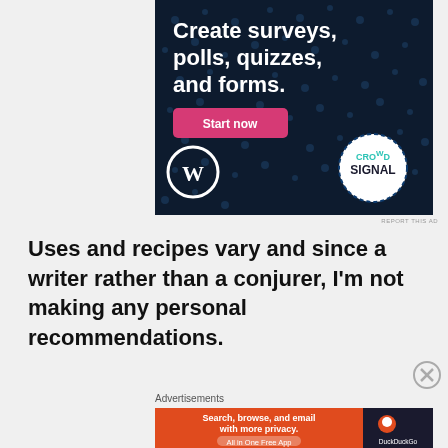[Figure (screenshot): Advertisement banner for Crowdsignal/WordPress: dark navy background with dot pattern, large white bold text 'Create surveys, polls, quizzes, and forms.', pink 'Start now' button, WordPress logo bottom-left, Crowdsignal circular badge bottom-right]
REPORT THIS AD
Uses and recipes vary and since a writer rather than a conjurer, I'm not making any personal recommendations.
[Figure (screenshot): Close/dismiss button (X in circle)]
Advertisements
[Figure (screenshot): DuckDuckGo advertisement: orange left panel with 'Search, browse, and email with more privacy. All in One Free App', dark right panel with DuckDuckGo logo and text]